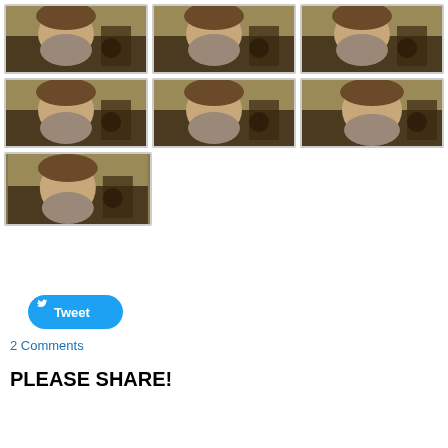[Figure (photo): Grid of 7 webcam selfie photos of a bearded man in a dark room with warm yellowish lighting. 3x2 grid plus one photo in bottom row. Each photo shows the same man from slightly different angles/expressions.]
[Figure (screenshot): Tweet button with Twitter bird icon]
2 Comments
PLEASE SHARE!